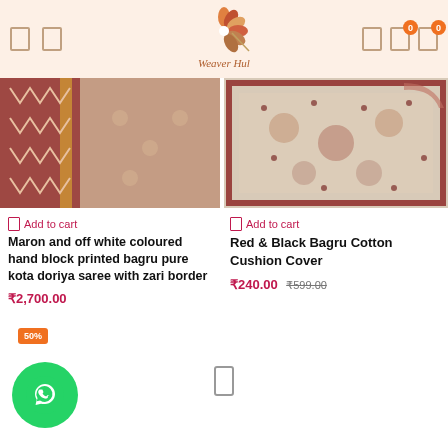Weaver Hul
[Figure (photo): Maroon and off-white hand block printed saree draped on mannequin]
Add to cart
Maron and off white coloured hand block printed bagru pure kota doriya saree with zari border
₹2,700.00
[Figure (photo): Red and black bagru cotton cushion cover on a bed]
Add to cart
Red & Black Bagru Cotton Cushion Cover
₹240.00 ₹599.00
[Figure (other): WhatsApp chat button (green circle with phone icon) and 50% badge]